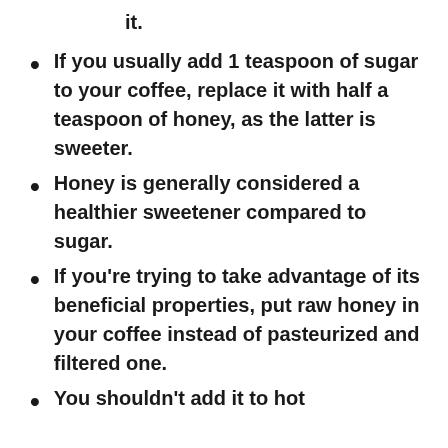it.
If you usually add 1 teaspoon of sugar to your coffee, replace it with half a teaspoon of honey, as the latter is sweeter.
Honey is generally considered a healthier sweetener compared to sugar.
If you're trying to take advantage of its beneficial properties, put raw honey in your coffee instead of pasteurized and filtered one.
You shouldn't add it to hot